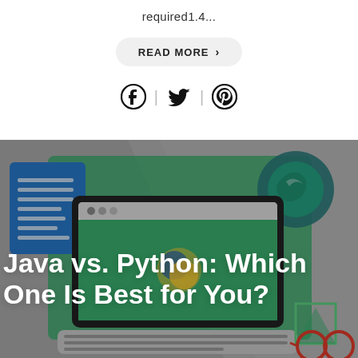required1.4...
READ MORE >
[Figure (other): Social media share icons: Facebook, Twitter, Pinterest]
[Figure (illustration): Illustration of a laptop with coding-related graphics, blue document, green background elements, magnifying glass, glasses, and HTML/Python symbols. Title overlay: Java vs. Python: Which One Is Best for You?]
Java vs. Python: Which One Is Best for You?